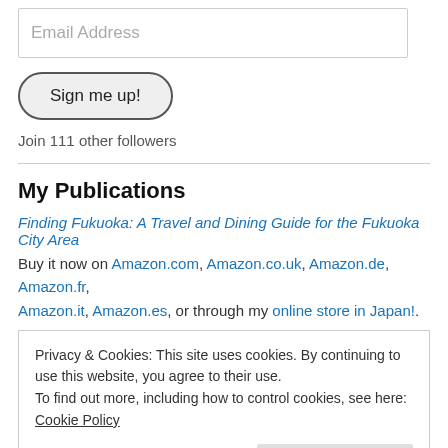Email Address
Sign me up!
Join 111 other followers
My Publications
Finding Fukuoka: A Travel and Dining Guide for the Fukuoka City Area
Buy it now on Amazon.com, Amazon.co.uk, Amazon.de, Amazon.fr, Amazon.it, Amazon.es, or through my online store in Japan!.
Privacy & Cookies: This site uses cookies. By continuing to use this website, you agree to their use. To find out more, including how to control cookies, see here: Cookie Policy
Close and accept
The Kindle edition is also available in Japan, the United States and